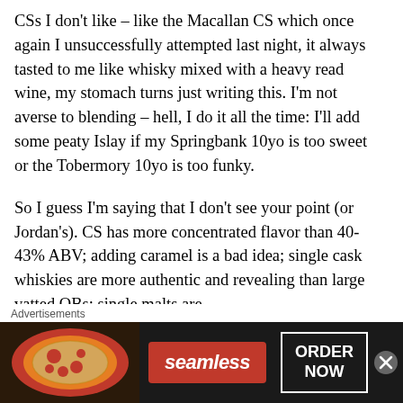CSs I don't like – like the Macallan CS which once again I unsuccessfully attempted last night, it always tasted to me like whisky mixed with a heavy read wine, my stomach turns just writing this. I'm not averse to blending – hell, I do it all the time: I'll add some peaty Islay if my Springbank 10yo is too sweet or the Tobermory 10yo is too funky.
So I guess I'm saying that I don't see your point (or Jordan's). CS has more concentrated flavor than 40-43% ABV; adding caramel is a bad idea; single cask whiskies are more authentic and revealing than large vatted OBs; single malts are
Advertisements
[Figure (other): Seamless food delivery advertisement banner showing pizza image on left, Seamless red logo in center, and ORDER NOW button on right against dark background]